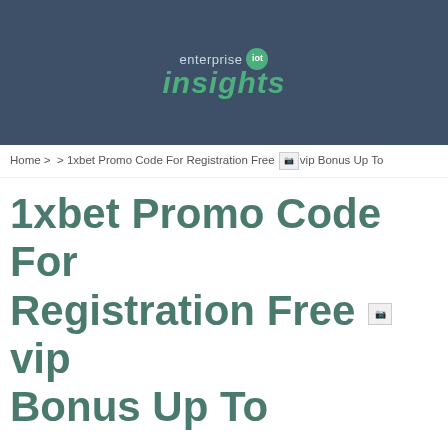[Figure (logo): Enterprise IoT Insights logo with green circular 'iot' badge and green italic 'insights' text on dark blue-grey banner]
Home > > 1xbet Promo Code For Registration Free [broken image: vip] Bonus Up To
1xbet Promo Code For Registration Free [broken image: vip] Bonus Up To
1xbet Promo Code For Registration Free [broken image: vip] Bonus Up To
This exhibits why so many individuals have determined